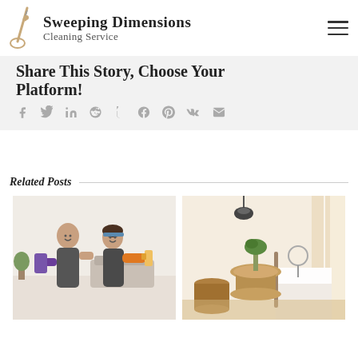Sweeping Dimensions Cleaning Service
Share This Story, Choose Your Platform!
[Figure (infographic): Social media sharing icons: Facebook, Twitter, LinkedIn, Reddit, Tumblr, Google+, Pinterest, Vk, Email]
Related Posts
[Figure (photo): Two women in aprons holding cleaning supplies, smiling]
[Figure (photo): Wooden furniture in a bright bedroom interior]